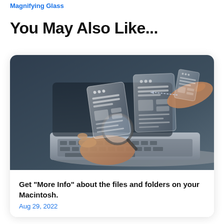Magnifying Glass
You May Also Like...
[Figure (photo): Person using a magnifying glass over a laptop keyboard, with translucent holographic document windows floating above the device.]
Get “More Info” about the files and folders on your Macintosh.
Aug 29, 2022